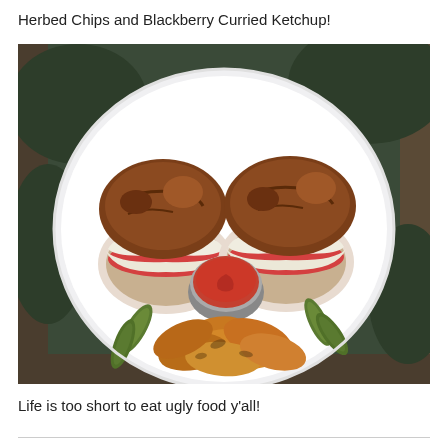Herbed Chips and Blackberry Curried Ketchup!
[Figure (photo): A white plate viewed from above containing two cheeseburgers on pretzel buns with melted white cheese, tomato, and a small metal cup of red ketchup/sauce in the center, surrounded by herbed chips (sliced roasted potatoes) and small pickles, set on a wooden table outdoors.]
Life is too short to eat ugly food y'all!